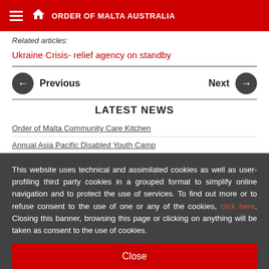ORDER OF MALTA AUSTRALIA
Related articles:
Ukraine Crisis- relief agency on standby
Previous
Next
LATEST NEWS
Order of Malta Community Care Kitchen
Annual Asia Pacific Disabled Youth Camp
Charitable Works Fund
Medical Clinic – Dili, Timor-Leste
This website uses technical and assimilated cookies as well as user-profiling third party cookies in a grouped format to simplify online navigation and to protect the use of services. To find out more or to refuse consent to the use of one or any of the cookies, click here. Closing this banner, browsing this page or clicking on anything will be taken as consent to the use of cookies.
Close